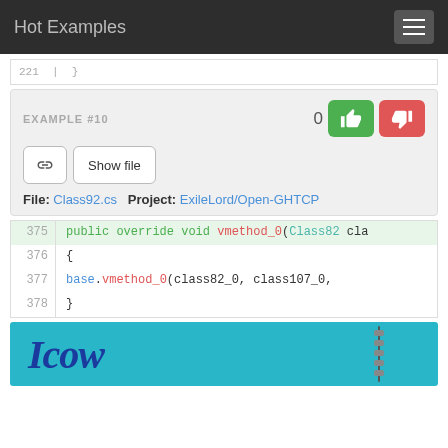Hot Examples
221  }
EXAMPLE #10
File: Class92.cs  Project: ExileLord/Open-GHTCP
[Figure (screenshot): Code snippet showing lines 375-378 of a C# file. Line 375 (highlighted): public override void vmethod_0(Class82 cla... Line 376: { Line 377: base.vmethod_0(class82_0, class107_0, ... Line 378: }]
[Figure (other): Blue banner image with italic bold text starting with 'Icow' or similar word, with a zipper graphic on the right side.]